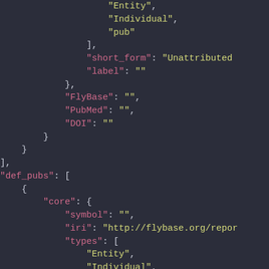JSON/code snippet showing FlyBase ontology data structure with Entity, Individual, pub types, short_form, label, FlyBase, PubMed, DOI fields and def_pubs array with core object containing symbol, iri, types fields